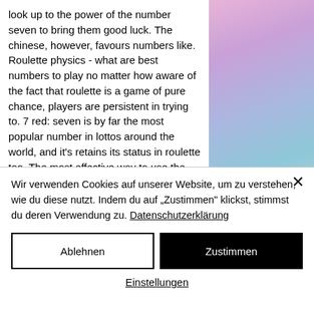look up to the power of the number seven to bring them good luck. The chinese, however, favours numbers like. Roulette physics - what are best numbers to play no matter how aware of the fact that roulette is a game of pure chance, players are persistent in trying to. 7 red: seven is by far the most popular number in lottos around the world, and it's retains its status in roulette too. The most effective way to use the martingale system is to only bet on even-money outside bets – 1-18, 19-36, red, black, even, and
[Figure (photo): Abstract blurred pastel image with pink, purple, and blue-grey tones, positioned on the right side of the page]
Wir verwenden Cookies auf unserer Website, um zu verstehen, wie du diese nutzt. Indem du auf „Zustimmen" klickst, stimmst du deren Verwendung zu. Datenschutzerklärung
Ablehnen
Zustimmen
Einstellungen